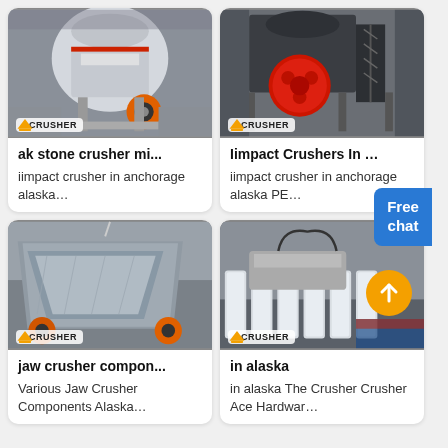[Figure (photo): Industrial stone crusher machine (cone crusher) with orange wheel, branded ACRUSHER]
ak stone crusher mi...
iimpact crusher in anchorage alaska…
[Figure (photo): Large industrial impact crusher machine, dark grey with red disc, branded ACRUSHER]
Iimpact Crushers In …
iimpact crusher in anchorage alaska PE…
[Figure (photo): Jaw crusher components, large grey metal angular structure with orange wheels, branded ACRUSHER]
jaw crusher compon...
Various Jaw Crusher Components Alaska…
[Figure (photo): Industrial crusher parts in factory setting, white cylindrical rollers on conveyor, branded ACRUSHER]
in alaska
in alaska The Crusher Crusher Ace Hardwar…